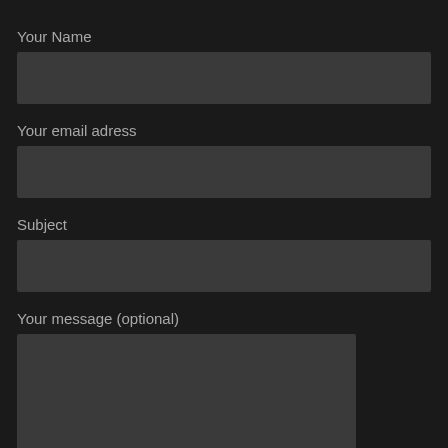Your Name
[Figure (other): Empty text input field for name]
Your email adress
[Figure (other): Empty text input field for email address]
Subject
[Figure (other): Empty text input field for subject]
Your message (optional)
[Figure (other): Empty textarea for message]